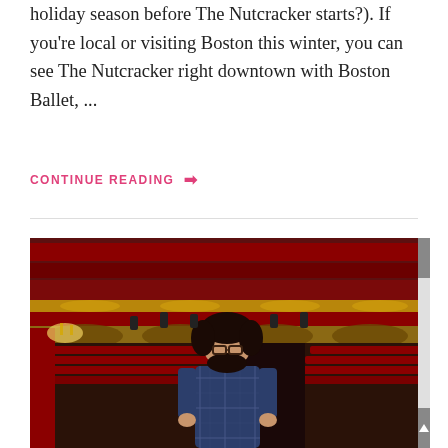holiday season before The Nutcracker starts?). If you're local or visiting Boston this winter, you can see The Nutcracker right downtown with Boston Ballet, ...
CONTINUE READING →
[Figure (photo): A woman with dark curly hair and glasses wearing a navy blue plaid dress stands in the aisle of an ornate theater with red velvet seats, gilded balconies, and warm lighting. The theater appears to be a large classical venue with multiple tiers of seating.]